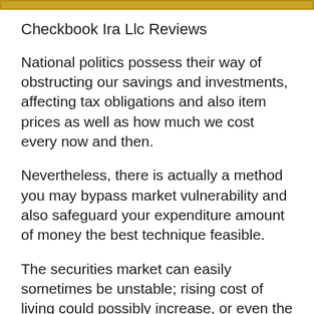Checkbook Ira Llc Reviews
National politics possess their way of obstructing our savings and investments, affecting tax obligations and also item prices as well as how much we cost every now and then.
Nevertheless, there is actually a method you may bypass market vulnerability and also safeguard your expenditure amount of money the best technique feasible.
The securities market can easily sometimes be unstable; rising cost of living could possibly increase, or even the United States dollar to endure some falls significantly changed